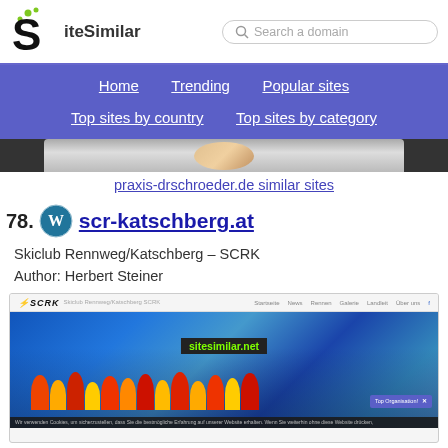SiteSimilar
Home  Trending  Popular sites  Top sites by country  Top sites by category
[Figure (screenshot): Partial screenshot of previous site (praxis-drschroeder.de) showing a smiling face]
praxis-drschroeder.de similar sites
78. scr-katschberg.at
Skiclub Rennweg/Katschberg – SCRK
Author: Herbert Steiner
[Figure (screenshot): Screenshot of scr-katschberg.at website showing SCRK logo, navigation menu, and group photo of ski club members with sitesimilar.net watermark overlay]